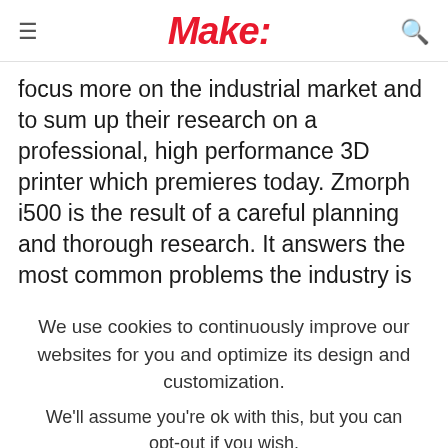Make:
focus more on the industrial market and to sum up their research on a professional, high performance 3D printer which premieres today. Zmorph i500 is the result of a careful planning and thorough research. It answers the most common problems the industry is
We use cookies to continuously improve our websites for you and optimize its design and customization.
We'll assume you're ok with this, but you can opt-out if you wish.
CONFIGURE
ACCEPT